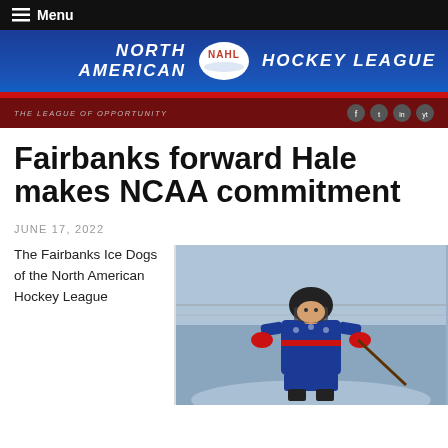Menu
[Figure (logo): NAHL North American Hockey League banner logo with oval NAHL badge in center]
THE LEAGUE OF OPPORTUNITY
Fairbanks forward Hale makes NCAA commitment
JUNE 17, 2022
The Fairbanks Ice Dogs of the North American Hockey League
[Figure (photo): Hockey player in blue uniform with helmet on ice]